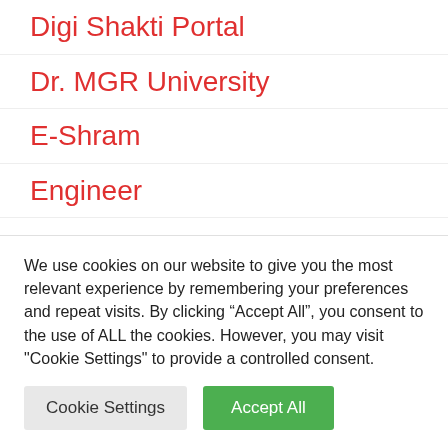Digi Shakti Portal
Dr. MGR University
E-Shram
Engineer
Exam Date
FCI
FSSAI
We use cookies on our website to give you the most relevant experience by remembering your preferences and repeat visits. By clicking “Accept All”, you consent to the use of ALL the cookies. However, you may visit "Cookie Settings" to provide a controlled consent.
Cookie Settings | Accept All